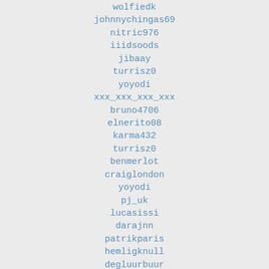wolfiedk
johnnychingas69
nitric976
iiidsoods
jibaay
turrisz0
yoyodi
xxx_xxx_xxx_xxx
bruno4706
elnerito08
karma432
turrisz0
benmerlot
craiglondon
yoyodi
pj_uk
lucasissi
darajnn
patrikparis
hemligknull
degluurbuur
smwalker5599
both1661
smwalker5599